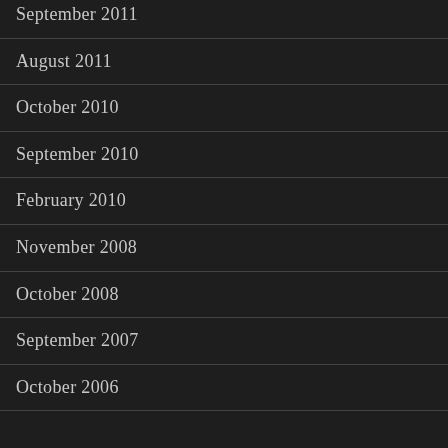September 2011
August 2011
October 2010
September 2010
February 2010
November 2008
October 2008
September 2007
October 2006